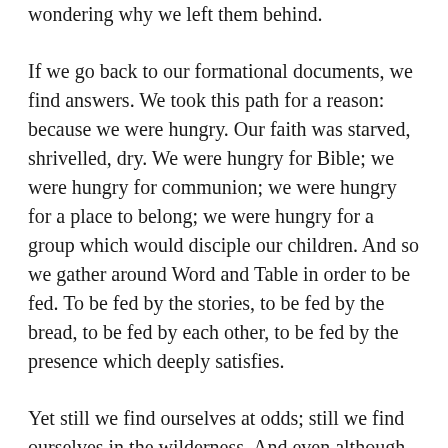wondering why we left them behind.
If we go back to our formational documents, we find answers. We took this path for a reason: because we were hungry. Our faith was starved, shrivelled, dry. We were hungry for Bible; we were hungry for communion; we were hungry for a place to belong; we were hungry for a group which would disciple our children. And so we gather around Word and Table in order to be fed. To be fed by the stories, to be fed by the bread, to be fed by each other, to be fed by the presence which deeply satisfies.
Yet still we find ourselves at odds; still we find ourselves in the wilderness. And even although God is with us, and feeds us, it is not what we expect. “Manna?” we ask, “What is it?” This bread, this wine, this water, this way of gathering, these stories: they may not be what we expect; they may not even taste